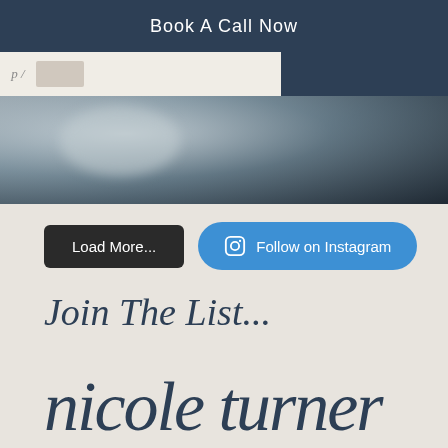Book A Call Now
[Figure (photo): Top strip with light background on left and dark navy section on right]
[Figure (photo): Close-up photo of tattoo art on skin with dark fabric/bag in background]
Load More...
Follow on Instagram
Join The List...
[Figure (illustration): Cursive/script signature logo text reading 'nicole turner' in dark navy]
[Figure (illustration): Row of dark navy social media icon circles at the bottom]